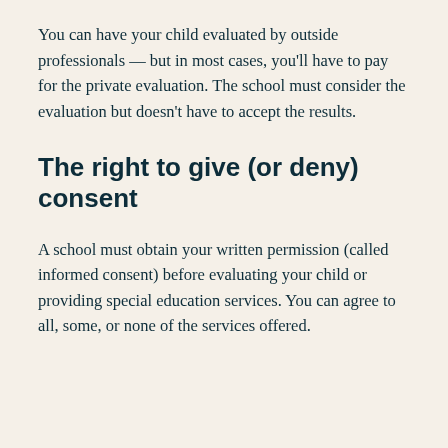You can have your child evaluated by outside professionals — but in most cases, you'll have to pay for the private evaluation. The school must consider the evaluation but doesn't have to accept the results.
The right to give (or deny) consent
A school must obtain your written permission (called informed consent) before evaluating your child or providing special education services. You can agree to all, some, or none of the services offered.